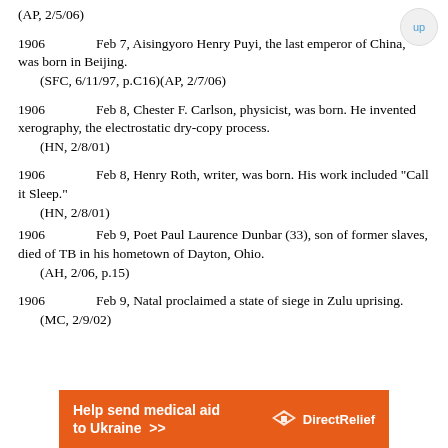(AP, 2/5/06)
1906	Feb 7, Aisingyoro Henry Puyi, the last emperor of China, was born in Beijing.
	(SFC, 6/11/97, p.C16)(AP, 2/7/06)
1906	Feb 8, Chester F. Carlson, physicist, was born. He invented xerography, the electrostatic dry-copy process.
	(HN, 2/8/01)
1906	Feb 8, Henry Roth, writer, was born. His work included "Call it Sleep."
	(HN, 2/8/01)
1906	Feb 9, Poet Paul Laurence Dunbar (33), son of former slaves, died of TB in his hometown of Dayton, Ohio.
	(AH, 2/06, p.15)
1906	Feb 9, Natal proclaimed a state of siege in Zulu uprising.
	(MC, 2/9/02)
[Figure (other): Direct Relief advertisement banner: orange background with text 'Help send medical aid to Ukraine >>' and Direct Relief logo]